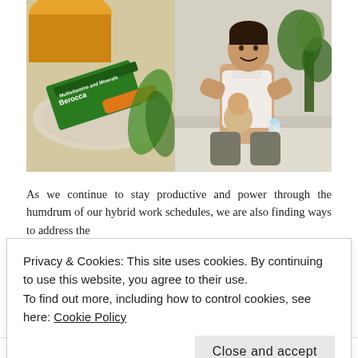[Figure (photo): Two-panel photo collage: left panel shows a green Berocca Multivitamins and Minerals product box with an orange beverage in a glass on a plate; right panel shows a smiling man in a white tank top sitting cross-legged holding a baby, with a green plant and plastic water bottle nearby.]
As we continue to stay productive and power through the humdrum of our hybrid work schedules, we are also finding ways to address the
Privacy & Cookies: This site uses cookies. By continuing to use this website, you agree to their use.
To find out more, including how to control cookies, see here: Cookie Policy
Close and accept
Follow